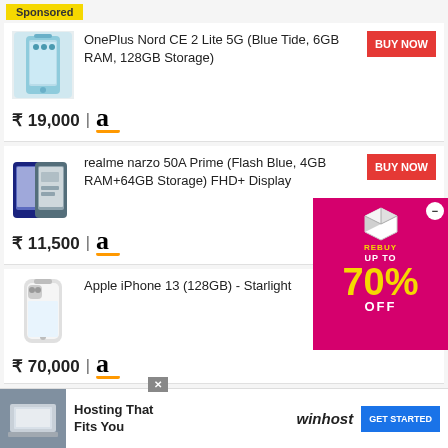Sponsored
OnePlus Nord CE 2 Lite 5G (Blue Tide, 6GB RAM, 128GB Storage)
₹ 19,000 | Amazon
BUY NOW
realme narzo 50A Prime (Flash Blue, 4GB RAM+64GB Storage) FHD+ Display
₹ 11,500 | Amazon
BUY NOW
Apple iPhone 13 (128GB) - Starlight
₹ 70,000 | Amazon
BUY NOW
[Figure (infographic): Magenta/pink promotional ad popup showing a 3D cube icon, text REBUY, UP TO, 70% in yellow, OFF in white]
iQOO 7 5G (Solid Ice Blue, 8GB RAM,
BUY NOW
[Figure (infographic): Bottom banner ad: photo of laptop/desk setup, text 'Hosting That Fits You', winhost logo, GET STARTED button in blue]